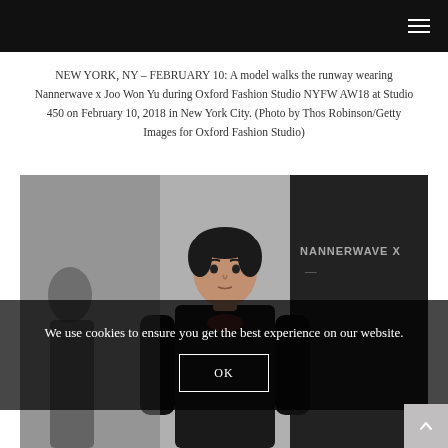Navigation bar with hamburger menu
NEW YORK, NY – FEBRUARY 10: A model walks the runway wearing Nannerwave x Joo Won Yu during Oxford Fashion Studio NYFW AW18 at Studio 450 on February 10, 2018 in New York City. (Photo by Thos Robinson/Getty Images for Oxford Fashion Studio)
[Figure (photo): A male model on a runway, wearing dark clothing. In the background, signage reads 'NANNERWAVE X'. The photo is taken at Studio 450 during Oxford Fashion Studio NYFW AW18.]
We use cookies to ensure you get the best experience on our website.
OK